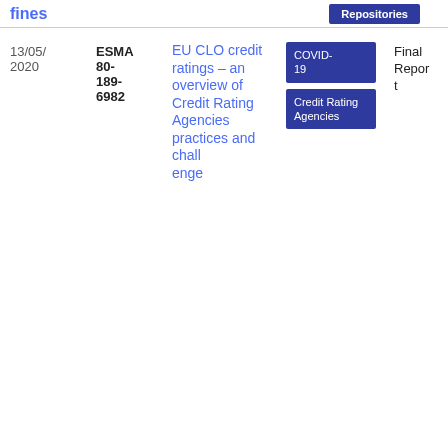fines
Repositories
13/05/2020
ESMA 80-189-6982
EU CLO credit ratings – an overview of Credit Rating Agencies practices and challenges
COVID-19
Credit Rating Agencies
Final Report
PDF
43
6.43 KB